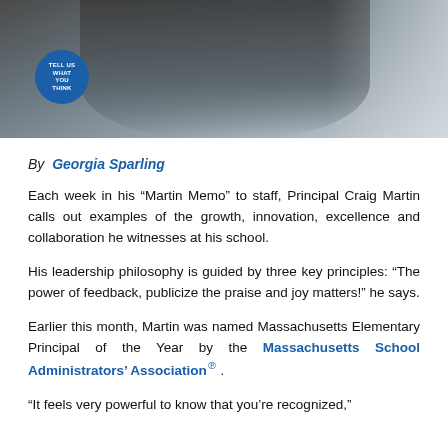[Figure (photo): Partial photo of a person (Principal Craig Martin) standing with arms crossed, wearing a dark jacket. A blue circular sign reading 'TELL US WHAT YOU THINK' is visible in the lower left. Background shows a light-colored interior.]
By  Georgia Sparling
Each week in his “Martin Memo” to staff, Principal Craig Martin calls out examples of the growth, innovation, excellence and collaboration he witnesses at his school.
His leadership philosophy is guided by three key principles: “The power of feedback, publicize the praise and joy matters!” he says.
Earlier this month, Martin was named Massachusetts Elementary Principal of the Year by the Massachusetts School Administrators’ Associationⅇ .
“It feels very powerful to know that you’re recognized,”